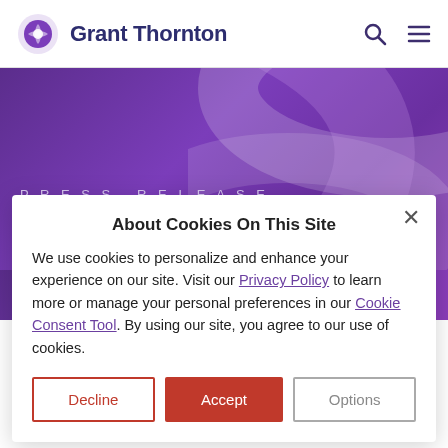Grant Thornton
[Figure (illustration): Purple hero banner with decorative ribbon/wave design, containing 'PRESS RELEASE' label and partial headline 'Almost half of extortion attem...' in white text]
About Cookies On This Site
We use cookies to personalize and enhance your experience on our site. Visit our Privacy Policy to learn more or manage your personal preferences in our Cookie Consent Tool. By using our site, you agree to our use of cookies.
Decline | Accept | Options